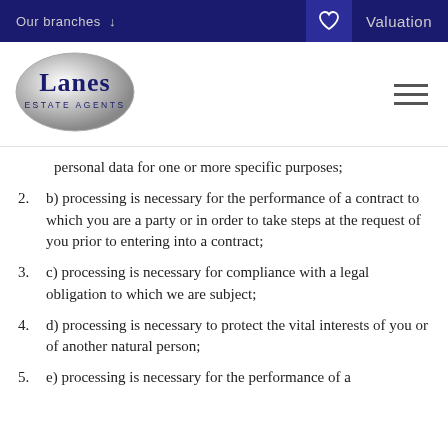Our branches ↓   Valuation
[Figure (logo): Lanes Estate Agents oval silver logo with dark blue text]
personal data for one or more specific purposes;
2. b) processing is necessary for the performance of a contract to which you are a party or in order to take steps at the request of you prior to entering into a contract;
3. c) processing is necessary for compliance with a legal obligation to which we are subject;
4. d) processing is necessary to protect the vital interests of you or of another natural person;
5. e) processing is necessary for the performance of a